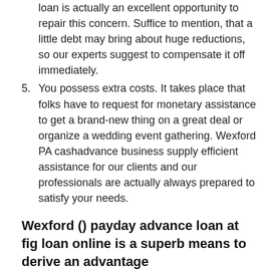loan is actually an excellent opportunity to repair this concern. Suffice to mention, that a little debt may bring about huge reductions, so our experts suggest to compensate it off immediately.
5. You possess extra costs. It takes place that folks have to request for monetary assistance to get a brand-new thing on a great deal or organize a wedding event gathering. Wexford PA cashadvance business supply efficient assistance for our clients and our professionals are actually always prepared to satisfy your needs.
Wexford () payday advance loan at fig loan online is a superb means to derive an advantage
Among the countless debt firms it is quite toughto opt for one. It is necessary to find a professional creditor that may provide an item of advise because often it is actually